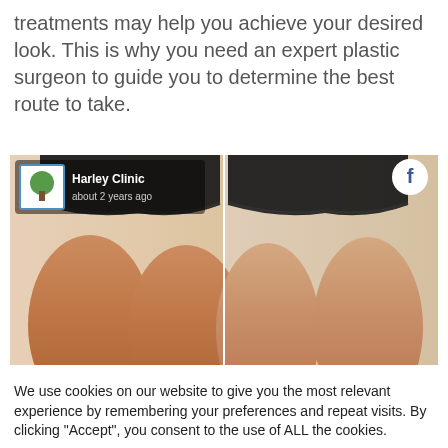treatments may help you achieve your desired look. This is why you need an expert plastic surgeon to guide you to determine the best route to take.
[Figure (photo): Before and after comparison photo from Harley Clinic Facebook post (about 2 years ago), showing thighs before and after a cosmetic treatment. Black underwear visible at top of both panels.]
We use cookies on our website to give you the most relevant experience by remembering your preferences and repeat visits. By clicking “Accept”, you consent to the use of ALL the cookies.
Cookie settings  ACCEPT